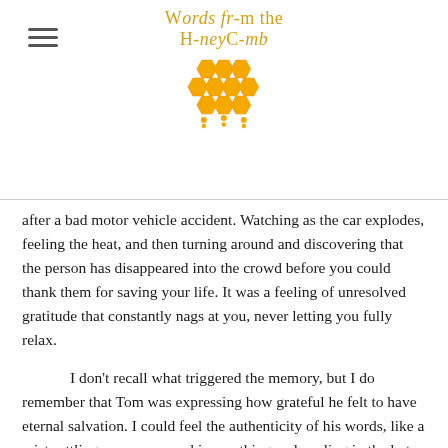Words from the Honeycomb
after a bad motor vehicle accident. Watching as the car explodes, feeling the heat, and then turning around and discovering that the person has disappeared into the crowd before you could thank them for saving your life. It was a feeling of unresolved gratitude that constantly nags at you, never letting you fully relax.
I don't recall what triggered the memory, but I do remember that Tom was expressing how grateful he felt to have eternal salvation. I could feel the authenticity of his words, like a mist settling on my warm skin, soothing and cooling in the hot African sun. It was then that I shared with him this vision or dream I had four years prior. It was unlike any dream I had ever had. It was more thought than visual or auditory. There was no recognition of images, or discernment of sound, but there was awareness unlike anything I had ever experienced. I could feel what was happening. But it was